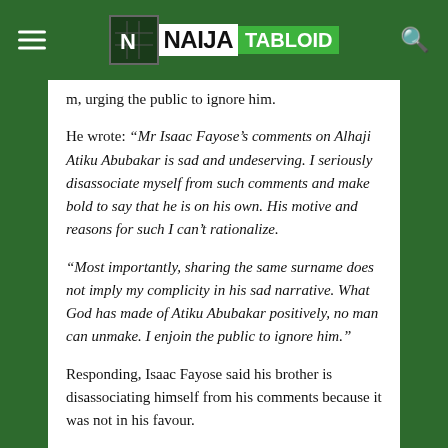NAIJA TABLOID
m, urging the public to ignore him.
He wrote: “Mr Isaac Fayose’s comments on Alhaji Atiku Abubakar is sad and undeserving. I seriously disassociate myself from such comments and make bold to say that he is on his own. His motive and reasons for such I can’t rationalize.
“Most importantly, sharing the same surname does not imply my complicity in his sad narrative. What God has made of Atiku Abubakar positively, no man can unmake. I enjoin the public to ignore him.”
Responding, Isaac Fayose said his brother is disassociating himself from his comments because it was not in his favour.